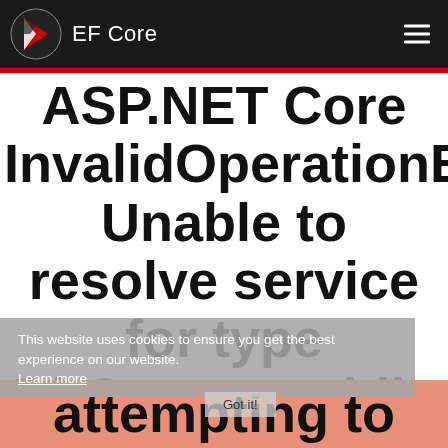EF Core
ASP.NET Core InvalidOperationException Unable to resolve service for type DbContext while attempting to
This website uses cookies to ensure you get the best experience on our website.
Learn more
Got it!